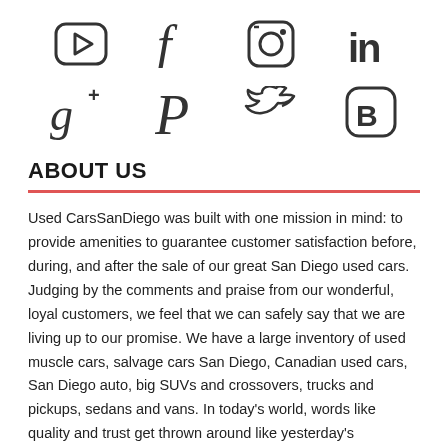[Figure (illustration): Row of four social media icons: YouTube (play button in rounded square), Facebook (f), Instagram (camera), LinkedIn (in)]
[Figure (illustration): Row of four social media icons: Google+ (g+ stylized), Pinterest (P), Twitter (bird), Blogger (B in rounded square)]
ABOUT US
Used CarsSanDiego was built with one mission in mind: to provide amenities to guarantee customer satisfaction before, during, and after the sale of our great San Diego used cars. Judging by the comments and praise from our wonderful, loyal customers, we feel that we can safely say that we are living up to our promise. We have a large inventory of used muscle cars, salvage cars San Diego, Canadian used cars, San Diego auto, big SUVs and crossovers, trucks and pickups, sedans and vans. In today's world, words like quality and trust get thrown around like yesterday's newspaper. But at Used CarsSanDiego, we believe in integrity and giving the customer a great value for their hard-earned money. So visit our web-site and give us a chance to share our experience and inventory with you in a no-hassle, state-of-the-art automotive